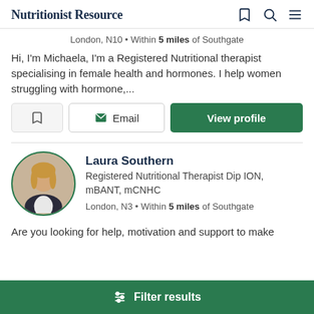Nutritionist Resource
London, N10 • Within 5 miles of Southgate
Hi, I'm Michaela, I'm a Registered Nutritional therapist specialising in female health and hormones. I help women struggling with hormone,...
Email  View profile
Laura Southern
Registered Nutritional Therapist Dip ION, mBANT, mCNHC
London, N3 • Within 5 miles of Southgate
Are you looking for help, motivation and support to make
Filter results